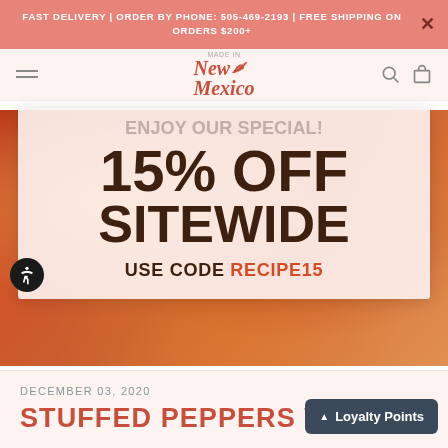FAST DELIVERY | ORDER BY PHONE: 505-469-2193 | FREE SHIPPING ON ORDERS $200+
[Figure (logo): Made in New Mexico logo with stylized text and chili pepper icon]
ENJOY OUR SPECIAL!
15% OFF SITEWIDE
USE CODE RECIPE15
DECEMBER 03, 2020
STUFFED PEPPERS W